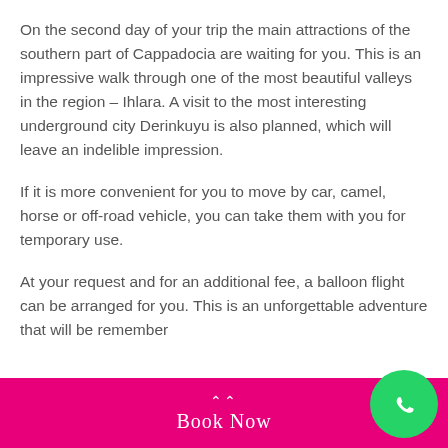On the second day of your trip the main attractions of the southern part of Cappadocia are waiting for you. This is an impressive walk through one of the most beautiful valleys in the region – Ihlara. A visit to the most interesting underground city Derinkuyu is also planned, which will leave an indelible impression.
If it is more convenient for you to move by car, camel, horse or off-road vehicle, you can take them with you for temporary use.
At your request and for an additional fee, a balloon flight can be arranged for you. This is an unforgettable adventure that will be remember...
Book Now